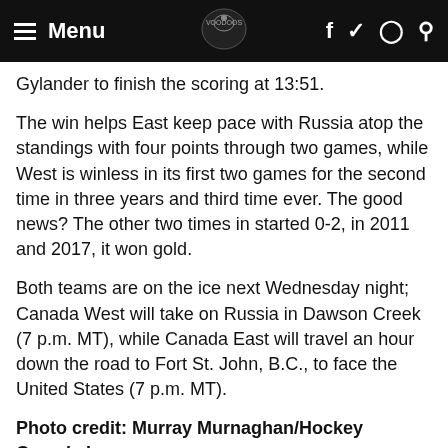Menu | Voodoos logo | f ✓ © Q
Gylander to finish the scoring at 13:51.
The win helps East keep pace with Russia atop the standings with four points through two games, while West is winless in its first two games for the second time in three years and third time ever. The good news? The other two times in started 0-2, in 2011 and 2017, it won gold.
Both teams are on the ice next Wednesday night; Canada West will take on Russia in Dawson Creek (7 p.m. MT), while Canada East will travel an hour down the road to Fort St. John, B.C., to face the United States (7 p.m. MT).
Photo credit: Murray Murnaghan/Hockey Canada Images
SUMMARY